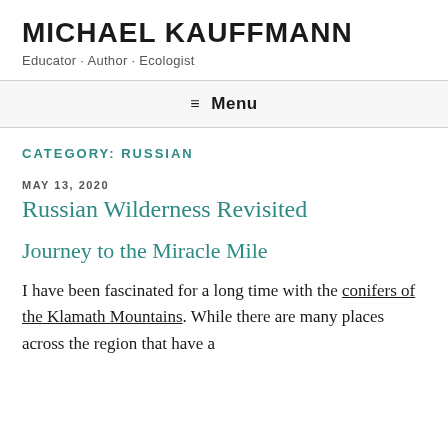MICHAEL KAUFFMANN
Educator · Author · Ecologist
≡ Menu
CATEGORY: RUSSIAN
MAY 13, 2020
Russian Wilderness Revisited
Journey to the Miracle Mile
I have been fascinated for a long time with the conifers of the Klamath Mountains. While there are many places across the region that have a